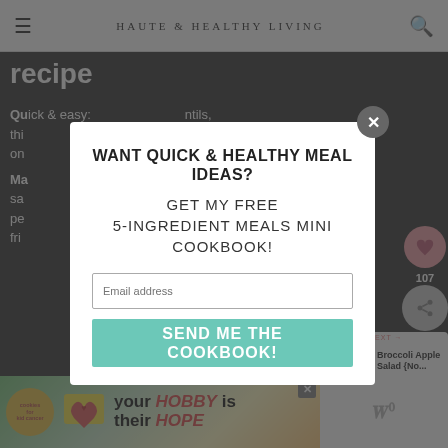HAUTE & HEALTHY LIVING
recipe
Quick... lentils, this... t and one... e.
Ma... his sa... s pe... e fri...
A real crowd pleaser: Great for barbecues,
[Figure (screenshot): Modal popup: WANT QUICK & HEALTHY MEAL IDEAS? GET MY FREE 5-INGREDIENT MEALS MINI COOKBOOK! with email input and SEND ME THE COOKBOOK! button]
[Figure (infographic): Bottom advertisement bar: cookies for kid cancer and your HOBBY is their HOPE]
WHAT'S NEXT → Broccoli Apple Salad {No...